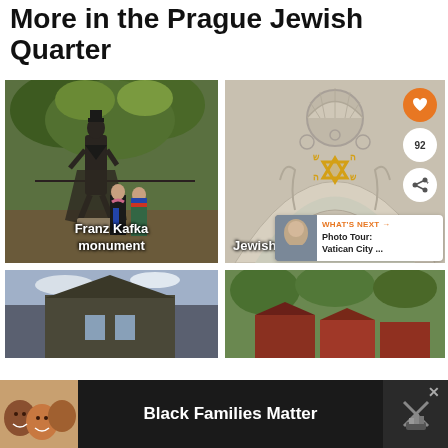More in the Prague Jewish Quarter
[Figure (photo): Franz Kafka monument - bronze statue with two people posing in front of it, green trees in background]
Franz Kafka monument
[Figure (photo): Jewish Town Hall - ornate facade detail with Star of David and Hebrew letters in gold on white stonework]
Jewish Town Hall
[Figure (photo): Partial view of another Prague Jewish Quarter landmark, bottom left]
[Figure (photo): Partial view of another Prague Jewish Quarter landmark with red rooftops, bottom right]
[Figure (photo): What's Next promo: Photo Tour Vatican City thumbnail]
WHAT'S NEXT → Photo Tour: Vatican City ...
[Figure (photo): Advertisement banner: Black Families Matter - shows group of people smiling]
Black Families Matter